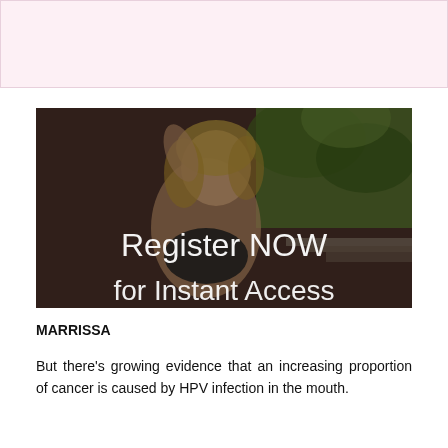[Figure (photo): Pink/light banner area at the top of the page]
[Figure (photo): Photo of a young woman with curly blonde hair posing outdoors with greenery in the background. Overlaid text reads 'Register NOW' and 'for Instant Access' in large white letters.]
MARRISSA
But there's growing evidence that an increasing proportion of cancer is caused by HPV infection in the mouth.